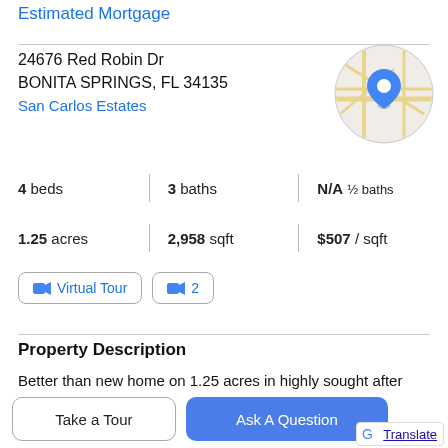Estimated Mortgage
24676 Red Robin Dr
BONITA SPRINGS, FL 34135
San Carlos Estates
[Figure (map): Circular map thumbnail showing street map with blue location pin marker]
4 beds | 3 baths | N/A ½ baths
1.25 acres | 2,958 sqft | $507 / sqft
Virtual Tour | 2
Property Description
Better than new home on 1.25 acres in highly sought after San Carlos Estates with NO HOA FEES. This beautiful
Take a Tour
Ask A Question
[Figure (logo): Google Translate button with Google G logo and Translate link]